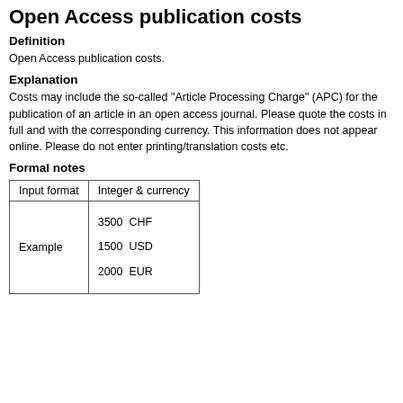Open Access publication costs
Definition
Open Access publication costs.
Explanation
Costs may include the so-called "Article Processing Charge" (APC) for the publication of an article in an open access journal. Please quote the costs in full and with the corresponding currency. This information does not appear online. Please do not enter printing/translation costs etc.
Formal notes
| Input format | Integer & currency |
| --- | --- |
| Example | 3500  CHF

1500  USD

2000  EUR |